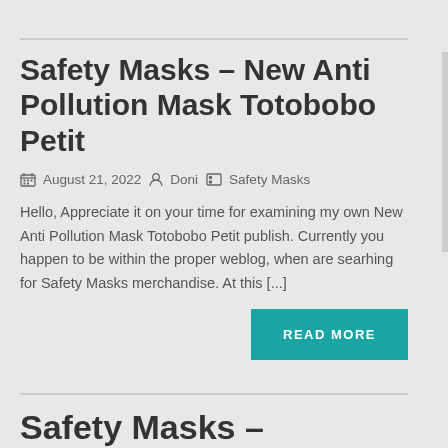Safety Masks – New Anti Pollution Mask Totobobo Petit
August 21, 2022   Doni   Safety Masks
Hello, Appreciate it on your time for examining my own New Anti Pollution Mask Totobobo Petit publish. Currently you happen to be within the proper weblog, when are searhing for Safety Masks merchandise. At this [...]
READ MORE
Safety Masks –